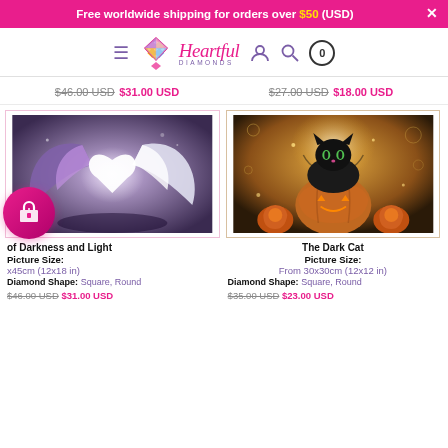Free worldwide shipping for orders over $50 (USD)
[Figure (logo): Heartful Diamonds logo with heart diamond icon, brand name in pink cursive, and purple subtitle DIAMONDS]
$46.00 USD $31.00 USD   $27.00 USD $18.00 USD
[Figure (photo): Dragon wings forming a heart shape, purple and white fantasy art]
[Figure (photo): Black cat sitting on a pumpkin with glowing jack-o-lanterns, Halloween scene]
of Darkness and Light
Picture Size:
x45cm (12x18 in)
Diamond Shape: Square, Round
The Dark Cat
Picture Size:
From 30x30cm (12x12 in)
Diamond Shape: Square, Round
$46.00 USD $31.00 USD
$35.00 USD $23.00 USD